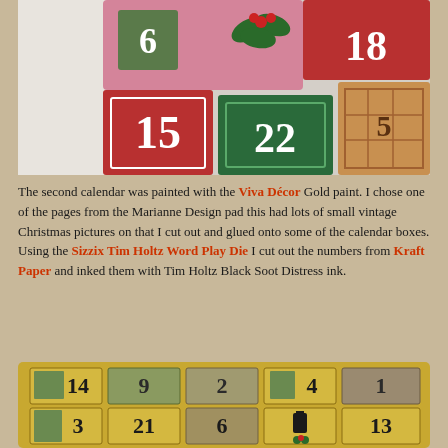[Figure (photo): Christmas advent calendar boxes stacked, showing numbers 15, 22, 18 on red, green, pink decorated boxes with holly]
The second calendar was painted with the Viva Décor Gold paint. I chose one of the pages from the Marianne Design pad this had lots of small vintage Christmas pictures on that I cut out and glued onto some of the calendar boxes. Using the Sizzix Tim Holtz Word Play Die I cut out the numbers from Kraft Paper and inked them with Tim Holtz Black Soot Distress ink.
[Figure (photo): Gold painted advent calendar with numbered boxes showing 14, 9, 2, 4, 1, 3, 21, 6, lantern, 13 with vintage Christmas images]